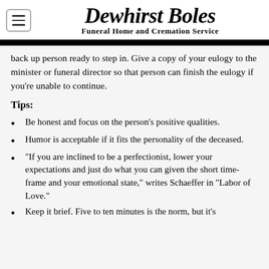Dewhirst Boles Funeral Home and Cremation Service
back up person ready to step in. Give a copy of your eulogy to the minister or funeral director so that person can finish the eulogy if you're unable to continue.
Tips:
Be honest and focus on the person's positive qualities.
Humor is acceptable if it fits the personality of the deceased.
"If you are inclined to be a perfectionist, lower your expectations and just do what you can given the short time-frame and your emotional state," writes Schaeffer in "Labor of Love."
Keep it brief. Five to ten minutes is the norm, but it's